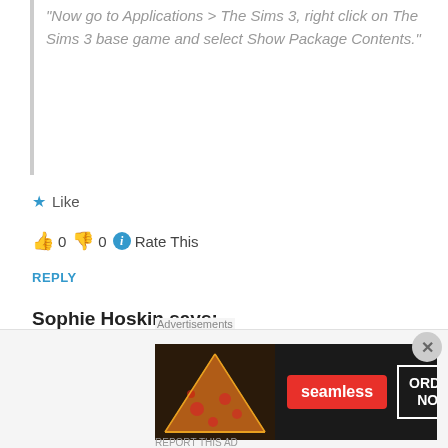“Now go to Applications > The Sims 3, right click on The Sims 3 base game and select Show Package Contents.”
★ Like
👍 0 👎 0 ⓘ Rate This
REPLY
Sophie Hoskin says:
June 2, 2016 at 1:54 pm
i have the early 2015 macbook air 13”. its all worked, except when the town loads its pretty much a grey screen with the odd bits of town loaded. how do i fix this? also doing these changed seems to
[Figure (screenshot): Seamless food delivery advertisement banner with pizza image, Seamless logo in red, and ORDER NOW button in white border on dark background]